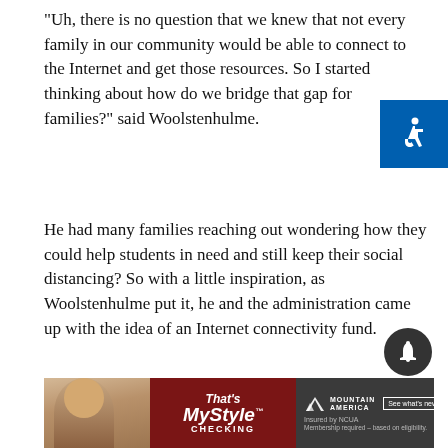"Uh, there is no question that we knew that not every family in our community would be able to connect to the Internet and get those resources. So I started thinking about how do we bridge that gap for families?" said Woolstenhulme.
He had many families reaching out wondering how they could help students in need and still keep their social distancing? So with a little inspiration, as Woolstenhulme put it, he and the administration came up with the idea of an Internet connectivity fund.
The business director said, 'we have people who want to donate for Internet connectivity for kids in need right now. Tell me when you can get a form ready to go,'" said Shelley Andrus, the executive director of the Bonneville Education Foundation. She said it only took about 20 minutes to turn it on because the district has been migrating toward online for many years
[Figure (other): Advertisement banner: That's My Style Checking, Mountain America credit union, See what's new, Insured by NCUA, Membership required – based on eligibility.]